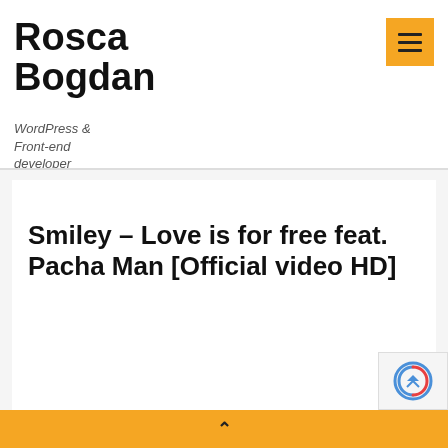Rosca Bogdan
WordPress & Front-end developer
[Figure (other): Hamburger menu button with gold/yellow background and three horizontal lines icon]
Smiley – Love is for free feat. Pacha Man [Official video HD]
[Figure (other): reCAPTCHA badge widget in bottom right corner]
^